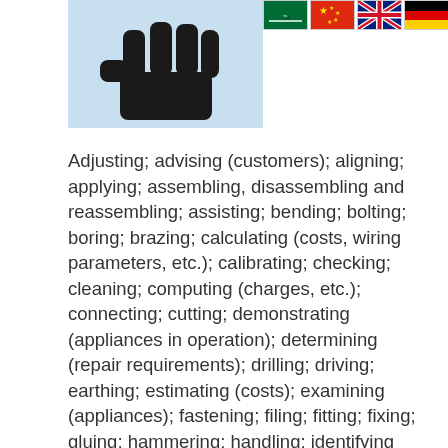[Figure (illustration): A black fist/hand icon on a light blue background, representing a trade/occupation symbol, with a row of country flags to the right.]
Adjusting; advising (customers); aligning; applying; assembling, disassembling and reassembling; assisting; bending; bolting; boring; brazing; calculating (costs, wiring parameters, etc.); calibrating; checking; cleaning; computing (charges, etc.); connecting; cutting; demonstrating (appliances in operation); determining (repair requirements); drilling; driving; earthing; estimating (costs); examining (appliances); fastening; filing; fitting; fixing; gluing; hammering; handling; identifying (defects); installing; inserting; insulating; joining; keeping (records); lifting; loading and unloading; locating (shorts and grounds, etc.); lubricating; maintaining (stock of parts); marking; measuring (dimensions, electric parameters); mending; mounting; moving (heavy appliances); observing (appliance in operation, instrument readings); operating (appliances, equipment); painting; placing; polishing; preparing; recording (details of repair); repairing; replacing;